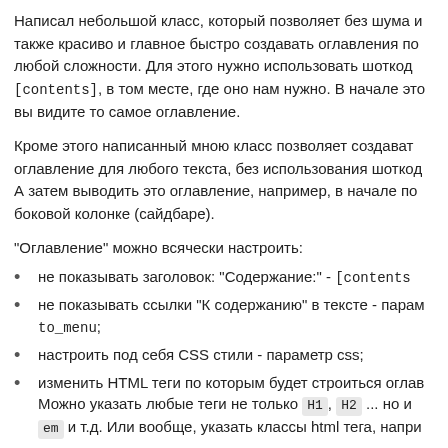Написал небольшой класс, который позволяет без шума и также красиво и главное быстро создавать оглавления по любой сложности. Для этого нужно использовать шоткод [contents], в том месте, где оно нам нужно. В начале это вы видите то самое оглавление.
Кроме этого написанный мною класс позволяет создавать оглавление для любого текста, без использования шоткода. А затем выводить это оглавление, например, в начале поста боковой колонке (сайдбаре).
"Оглавление" можно всячески настроить:
не показывать заголовок: "Содержание:" - [contents
не показывать ссылки "К содержанию" в тексте - парам to_menu;
настроить под себя CSS стили - параметр css;
изменить HTML теги по которым будет строиться оглав Можно указать любые теги не только H1, H2 ... но и em и т.д. Или вообще, указать классы html тега, напри